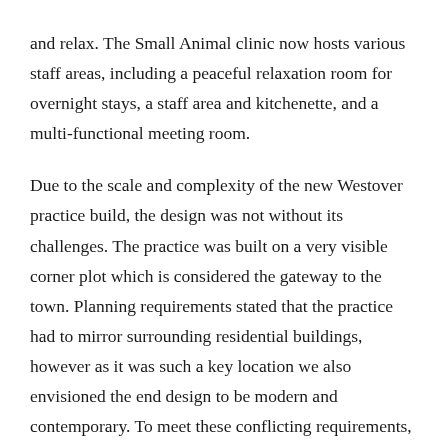and relax. The Small Animal clinic now hosts various staff areas, including a peaceful relaxation room for overnight stays, a staff area and kitchenette, and a multi-functional meeting room.
Due to the scale and complexity of the new Westover practice build, the design was not without its challenges. The practice was built on a very visible corner plot which is considered the gateway to the town. Planning requirements stated that the practice had to mirror surrounding residential buildings, however as it was such a key location we also envisioned the end design to be modern and contemporary. To meet these conflicting requirements, we ensured the bricks we used were the same as the surrounding houses and we also used Hardie-Plank boarding to add a low maintenance but modern material palette, which again